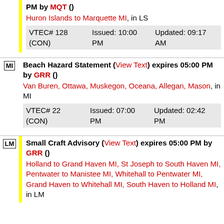PM by MQT () Huron Islands to Marquette MI, in LS VTEC# 128 (CON) Issued: 10:00 PM Updated: 09:17 AM
Beach Hazard Statement (View Text) expires 05:00 PM by GRR () Van Buren, Ottawa, Muskegon, Oceana, Allegan, Mason, in MI VTEC# 22 (CON) Issued: 07:00 PM Updated: 02:42 PM
Small Craft Advisory (View Text) expires 05:00 PM by GRR () Holland to Grand Haven MI, St Joseph to South Haven MI, Pentwater to Manistee MI, Whitehall to Pentwater MI, Grand Haven to Whitehall MI, South Haven to Holland MI, in LM